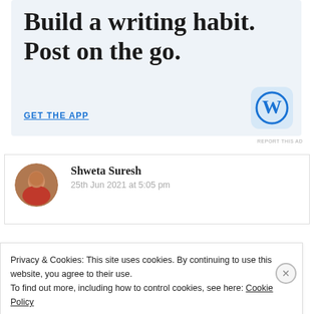[Figure (screenshot): WordPress app advertisement banner with large serif text 'Build a writing habit. Post on the go.' and 'GET THE APP' call-to-action link with WordPress logo icon on light blue background]
REPORT THIS AD
Shweta Suresh
25th Jun 2021 at 5:05 pm
Privacy & Cookies: This site uses cookies. By continuing to use this website, you agree to their use.
To find out more, including how to control cookies, see here: Cookie Policy
Close and accept